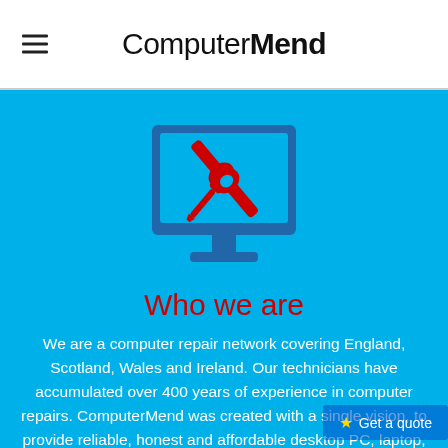ComputerMend
[Figure (illustration): Blue computer monitor icon with red wrench and screwdriver crossed in front, on a cyan/sky-blue background]
Who we are
We are a computer repair network covering England, Scotland, Wales and Ireland. Our technicians have accumulated over 400 years of experience in computer repairs. ComputerMend was created with a single vision, to provide reliable, honest and affordable desktop PC, laptop, tablet and Apple Mac repairs to both commercial and private customers across the UK. Our